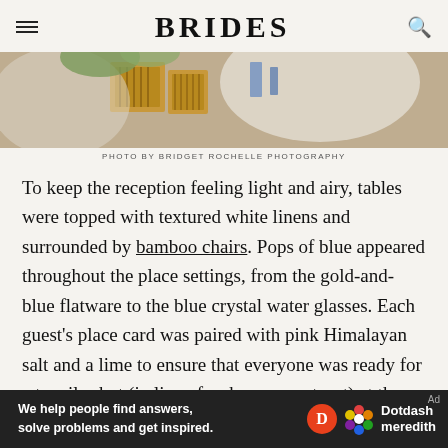BRIDES
[Figure (photo): Close-up photo of wedding table setting with wooden/bamboo elements and white linens]
PHOTO BY BRIDGET ROCHELLE PHOTOGRAPHY
To keep the reception feeling light and airy, tables were topped with textured white linens and surrounded by bamboo chairs. Pops of blue appeared throughout the place settings, from the gold-and-blue flatware to the blue crystal water glasses. Each guest's place card was paired with pink Himalayan salt and a lime to ensure that everyone was ready for a tequila shot (in lieu of a champagne toast) at the end of the father-of-the-bride's speech
[Figure (screenshot): Dotdash Meredith advertisement banner: 'We help people find answers, solve problems and get inspired.']